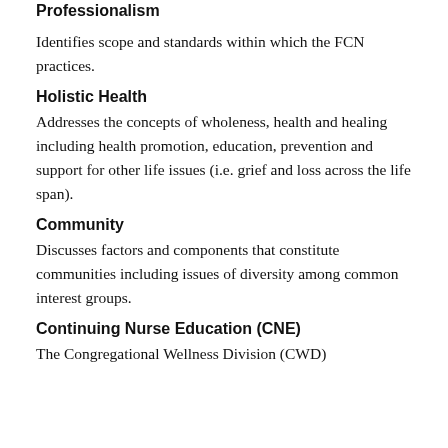Professionalism
Identifies scope and standards within which the FCN practices.
Holistic Health
Addresses the concepts of wholeness, health and healing including health promotion, education, prevention and support for other life issues (i.e. grief and loss across the life span).
Community
Discusses factors and components that constitute communities including issues of diversity among common interest groups.
Continuing Nurse Education (CNE)
The Congregational Wellness Division (CWD)...